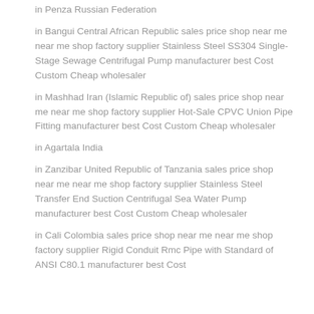in Penza Russian Federation
in Bangui Central African Republic sales price shop near me near me shop factory supplier Stainless Steel SS304 Single-Stage Sewage Centrifugal Pump manufacturer best Cost Custom Cheap wholesaler
in Mashhad Iran (Islamic Republic of) sales price shop near me near me shop factory supplier Hot-Sale CPVC Union Pipe Fitting manufacturer best Cost Custom Cheap wholesaler
in Agartala India
in Zanzibar United Republic of Tanzania sales price shop near me near me shop factory supplier Stainless Steel Transfer End Suction Centrifugal Sea Water Pump manufacturer best Cost Custom Cheap wholesaler
in Cali Colombia sales price shop near me near me shop factory supplier Rigid Conduit Rmc Pipe with Standard of ANSI C80.1 manufacturer best Cost